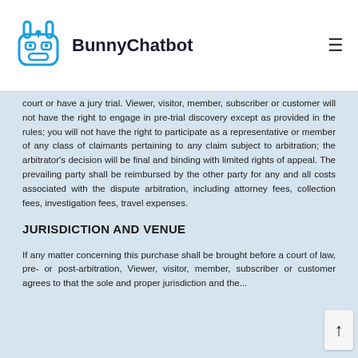BunnyChatbot
court or have a jury trial. Viewer, visitor, member, subscriber or customer will not have the right to engage in pre-trial discovery except as provided in the rules; you will not have the right to participate as a representative or member of any class of claimants pertaining to any claim subject to arbitration; the arbitrator's decision will be final and binding with limited rights of appeal. The prevailing party shall be reimbursed by the other party for any and all costs associated with the dispute arbitration, including attorney fees, collection fees, investigation fees, travel expenses.
JURISDICTION AND VENUE
If any matter concerning this purchase shall be brought before a court of law, pre- or post-arbitration, Viewer, visitor, member, subscriber or customer agrees to that the sole and proper jurisdiction and venue, as determined by the...